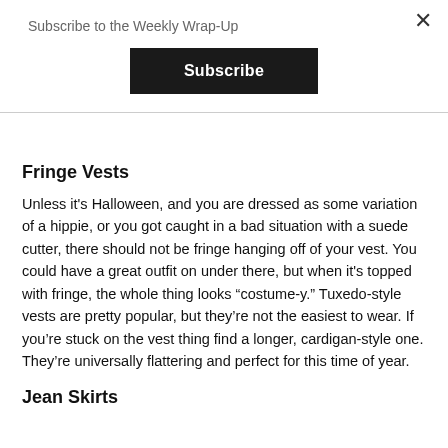Subscribe to the Weekly Wrap-Up
Subscribe
Fringe Vests
Unless it's Halloween, and you are dressed as some variation of a hippie, or you got caught in a bad situation with a suede cutter, there should not be fringe hanging off of your vest. You could have a great outfit on under there, but when it's topped with fringe, the whole thing looks “costume-y.” Tuxedo-style vests are pretty popular, but they’re not the easiest to wear. If you’re stuck on the vest thing find a longer, cardigan-style one. They’re universally flattering and perfect for this time of year.
Jean Skirts